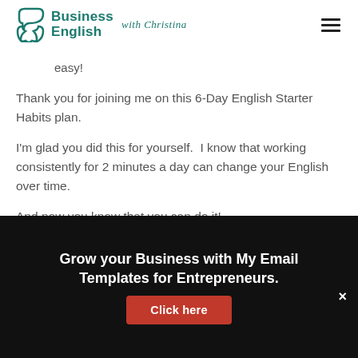[Figure (logo): Business English with Christina logo — teal icon with speech bubble and text]
easy!
Thank you for joining me on this 6-Day English Starter Habits plan.
I'm glad you did this for yourself.  I know that working consistently for 2 minutes a day can change your English over time.
And now you know that you can do it!
Grow your Business with My Email Templates for Entrepreneurs.
Click here